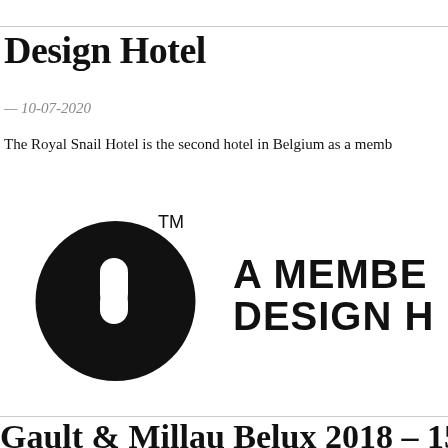Design Hotel
— 10-07-2020
The Royal Snail Hotel is the second hotel in Belgium as a memb…
[Figure (logo): Design Hotels TM logo: black circle with white rounded rectangle icon, and text 'A MEMBER OF DESIGN HOTELS' to the right]
Gault & Millau Belux 2018 – 15/…